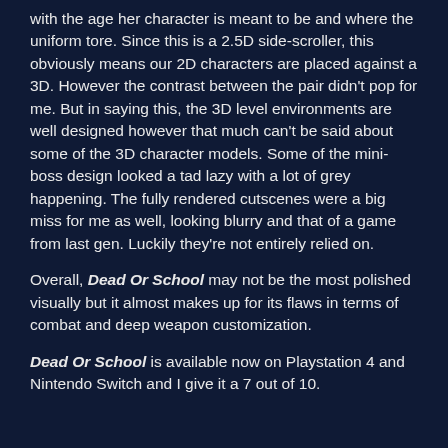with the age her character is meant to be and where the uniform tore. Since this is a 2.5D side-scroller, this obviously means our 2D characters are placed against a 3D. However the contrast between the pair didn't pop for me. But in saying this, the 3D level environments are well designed however that much can't be said about some of the 3D character models. Some of the mini-boss design looked a tad lazy with a lot of grey happening. The fully rendered cutscenes were a big miss for me as well, looking blurry and that of a game from last gen. Luckily they're not entirely relied on.
Overall, Dead Or School may not be the most polished visually but it almost makes up for its flaws in terms of combat and deep weapon customization.
Dead Or School is available now on Playstation 4 and Nintendo Switch and I give it a 7 out of 10.